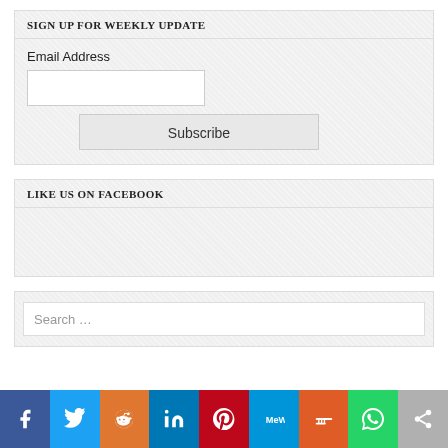SIGN UP FOR WEEKLY UPDATE
Email Address
Subscribe
LIKE US ON FACEBOOK
Search …
[Figure (infographic): Social media share bar with icons: Facebook (blue), Twitter (light blue), Reddit (orange), LinkedIn (dark blue), Pinterest (red), MeWe (teal), Mix (orange-red), WhatsApp (green), Share (gray)]